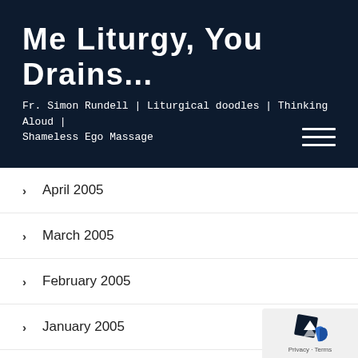Me Liturgy, You Drains...
Fr. Simon Rundell | Liturgical doodles | Thinking Aloud | Shameless Ego Massage
April 2005
March 2005
February 2005
January 2005
December 2004